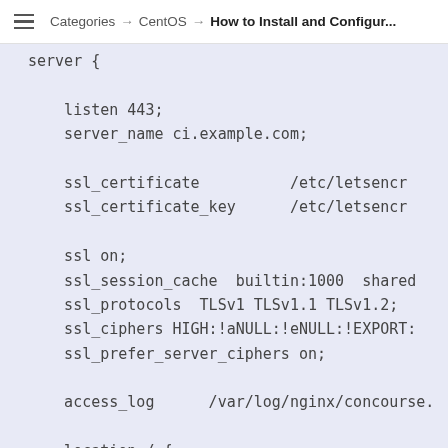≡  Categories → CentOS → How to Install and Configur...
server {
    listen 443;
    server_name ci.example.com;

    ssl_certificate          /etc/letsencr
    ssl_certificate_key      /etc/letsencr

    ssl on;
    ssl_session_cache  builtin:1000  shared
    ssl_protocols  TLSv1 TLSv1.1 TLSv1.2;
    ssl_ciphers HIGH:!aNULL:!eNULL:!EXPORT:
    ssl_prefer_server_ciphers on;

    access_log      /var/log/nginx/concourse.

    location / {